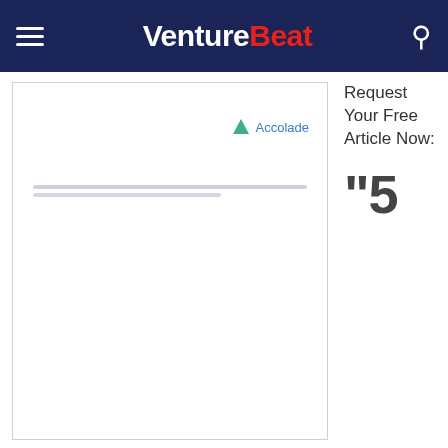VentureBeat
[Figure (logo): Accolade company logo with green triangle icon and blue 'Accolade' text]
Request Your Free Article Now:
"5